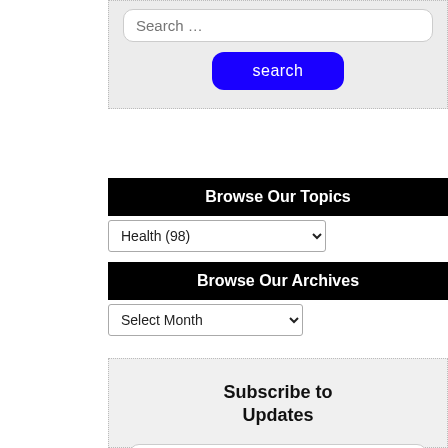[Figure (screenshot): Search widget with text input field showing placeholder 'Search …' and a blue 'search' button]
Browse Our Topics
[Figure (screenshot): Dropdown select showing 'Health  (98)']
Browse Our Archives
[Figure (screenshot): Dropdown select showing 'Select Month']
Subscribe to Updates
[Figure (screenshot): Email input field with placeholder 'Enter your e-mail address']